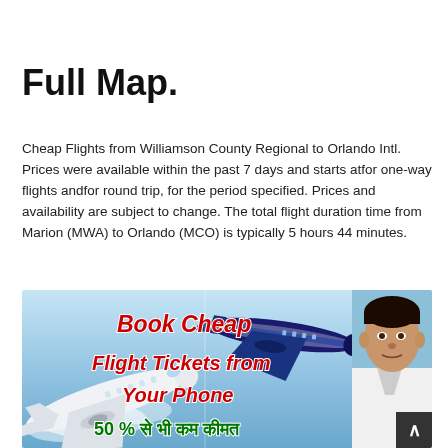Full Map.
Cheap Flights from Williamson County Regional to Orlando Intl. Prices were available within the past 7 days and starts atfor one-way flights andfor round trip, for the period specified. Prices and availability are subject to change. The total flight duration time from Marion (MWA) to Orlando (MCO) is typically 5 hours 44 minutes.
[Figure (illustration): Advertising banner for cheap flight tickets. Shows two airplanes (white and blue) against a blue sky background, with text 'Book Cheap Flight Tickets from Your Phone' in red italic text, and Hindi text '50 % से भी कम कीमत' in green. A man's portrait appears on the right side.]